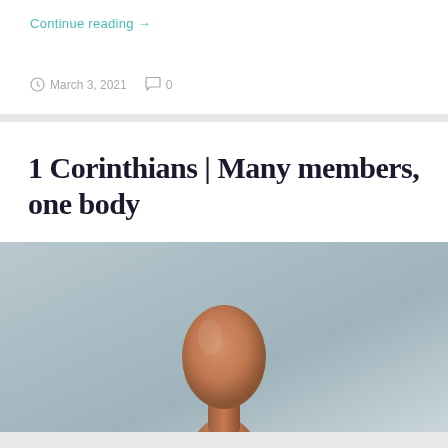Continue reading →
March 3, 2021  0
1 Corinthians | Many members, one body
[Figure (photo): Wooden mannequin or figure head on a grey-blue background, photographed from the front showing the rounded featureless head and neck/body.]